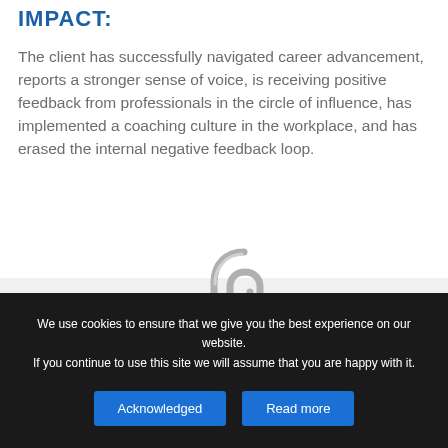IMPACT:
The client has successfully navigated career advancement, reports a stronger sense of voice, is receiving positive feedback from professionals in the circle of influence, has implemented a coaching culture in the workplace, and has erased the internal negative feedback loop.
[Figure (illustration): Decorative section with a paper clip image overlapping a horizontal divider line, grey handwriting-style background, and large blue opening quotation marks in the lower left.]
We use cookies to ensure that we give you the best experience on our website. If you continue to use this site we will assume that you are happy with it.